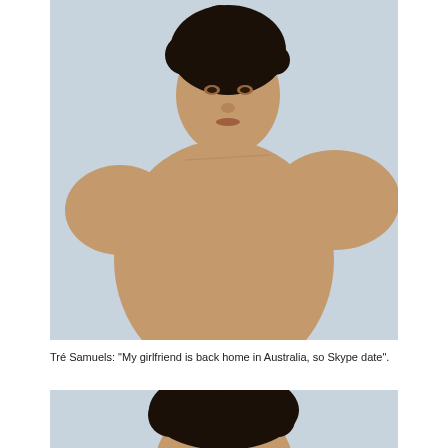[Figure (photo): Young man with curly dark hair, shirtless, arms crossed, photographed against a light blue-grey background. Three-quarter torso shot.]
Tré Samuels: "My girlfriend is back home in Australia, so Skype date".
[Figure (photo): Partial top of head with curly dark hair, cropped at bottom of page.]